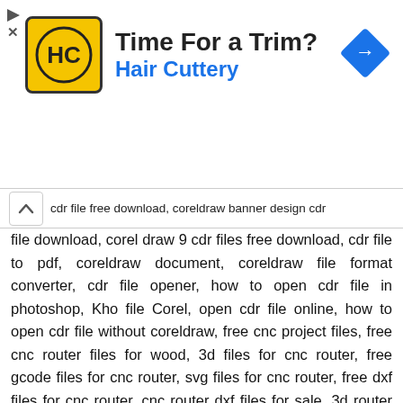[Figure (infographic): Advertisement banner for Hair Cuttery with yellow logo showing HC initials, headline 'Time For a Trim?', subline 'Hair Cuttery' in blue, and a blue diamond navigation icon on the right. Small triangle and X icons on the left edge.]
cdr file free download, coreldraw banner design cdr file download, corel draw 9 cdr files free download, cdr file to pdf, coreldraw document, coreldraw file format converter, cdr file opener, how to open cdr file in photoshop, Kho file Corel, open cdr file online, how to open cdr file without coreldraw, free cnc project files, free cnc router files for wood, 3d files for cnc router, free gcode files for cnc router, svg files for cnc router, free dxf files for cnc router, cnc router dxf files for sale, 3d router files, Download file 3d CNC, free 3d cnc files, 3d model to cnc, free 3d carving files, 3d cnc files for sale, stl files for cnc, free cnc models, cnc stl files for sale, free 3d models obj, 3d model download, free 3d models blender, free 3d model sites, 3d max model free download architecture, high quality 3d models free download, 3d models online, sketchfab, 3d models free